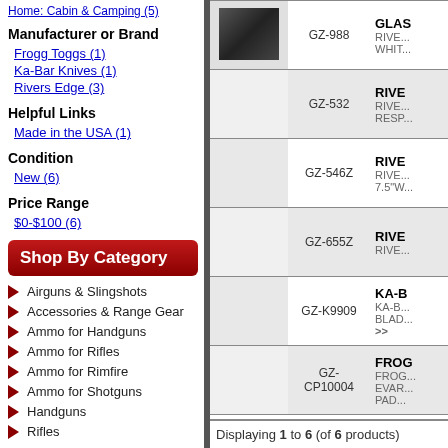Home: Cabin & Camping (5)
Manufacturer or Brand
Frogg Toggs (1)
Ka-Bar Knives (1)
Rivers Edge (3)
Helpful Links
Made in the USA (1)
Condition
New (6)
Price Range
$0-$100 (6)
Shop By Category
Airguns & Slingshots
Accessories & Range Gear
Ammo for Handguns
Ammo for Rifles
Ammo for Rimfire
Ammo for Shotguns
Handguns
Rifles
| Image | SKU | Description |
| --- | --- | --- |
| [image] | GZ-988 | GLAS... RIVE... WHIT... |
|  | GZ-532 | RIVE... RIVE... RESP... |
|  | GZ-546Z | RIVE... RIVE... 7.5"W... |
|  | GZ-655Z | RIVE... RIVE... |
|  | GZ-K9909 | KA-B... KA-B... BLAD... >> |
|  | GZ-CP10004 | FROG... FROG... EVAR... PAD... |
Displaying 1 to 6 (of 6 products)